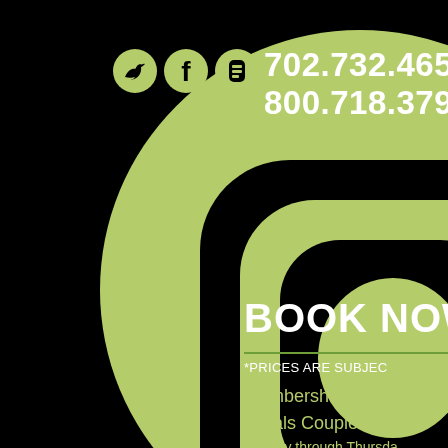[Figure (illustration): Concentric spiral/target design with black background and yellow-green color scheme, with rounded square inner rings and circular outer rings]
702.732.4656
800.718.3794
BOOK NOW
*PRICES ARE SUBJECT
Memberships
Locals Couples:
Sunday through Thursday
Friday and Saturday pe
Week Membership $1.0